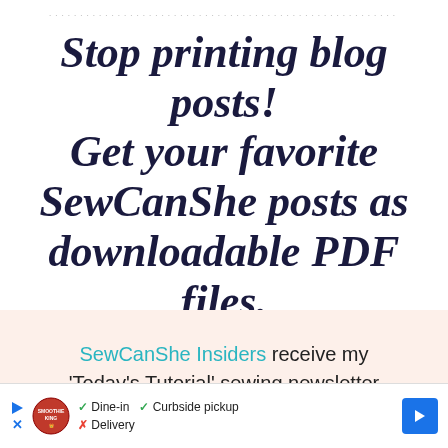Stop printing blog posts! Get your favorite SewCanShe posts as downloadable PDF files.
SewCanShe Insiders receive my 'Today's Tutorial' sewing newsletter and find out which Optimized for
[Figure (infographic): Advertisement bar showing Smoothie King logo with dine-in, curbside pickup, and delivery options, with navigation arrow icon]